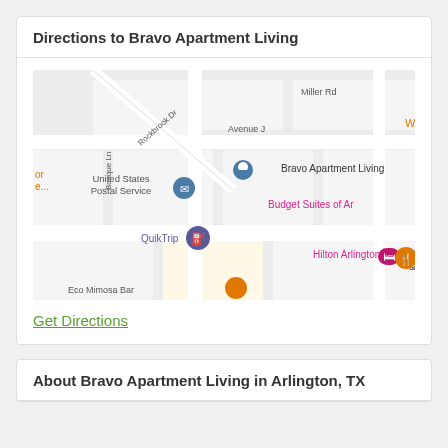Directions to Bravo Apartment Living
[Figure (map): Google Maps view centered on Bravo Apartment Living in Arlington, TX. Nearby landmarks visible include United States Postal Service, QuikTrip, Wendy's, Budget Suites of Arlington, Hilton Arlington, and Boston & Sports. Streets visible include Rockbrook Dr, Miller Rd, Avenue J, and Bosque Ln.]
Get Directions
About Bravo Apartment Living in Arlington, TX